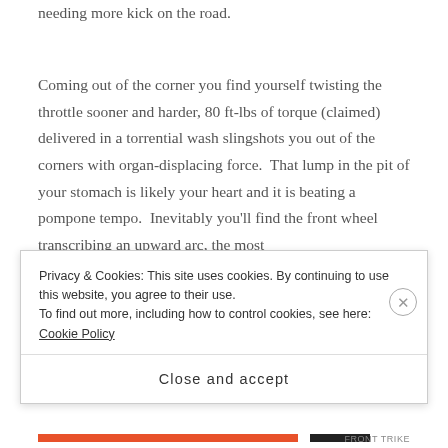needing more kick on the road.
Coming out of the corner you find yourself twisting the throttle sooner and harder, 80 ft-lbs of torque (claimed) delivered in a torrential wash slingshots you out of the corners with organ-displacing force.  That lump in the pit of your stomach is likely your heart and it is beating a pompone tempo.  Inevitably you’ll find the front wheel transcribing an upward arc, the most worrisome part of this is that it feels strangely natural
Privacy & Cookies: This site uses cookies. By continuing to use this website, you agree to their use.
To find out more, including how to control cookies, see here: Cookie Policy
Close and accept